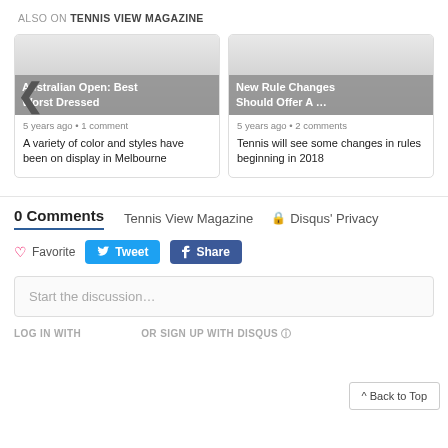ALSO ON TENNIS VIEW MAGAZINE
[Figure (screenshot): Card with image overlay: Australian Open: Best Worst Dressed, 5 years ago • 1 comment. A variety of color and styles have been on display in Melbourne]
[Figure (screenshot): Card with image overlay: New Rule Changes Should Offer A ..., 5 years ago • 2 comments. Tennis will see some changes in rules beginning in 2018]
0 Comments   Tennis View Magazine   🔒 Disqus' Privacy
♡ Favorite   Tweet   f Share
Start the discussion…
LOG IN WITH
OR SIGN UP WITH DISQUS ⓘ
^ Back to Top